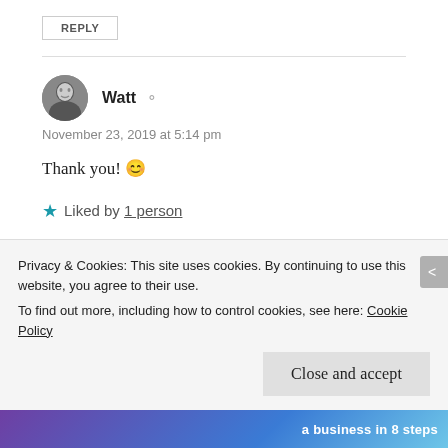REPLY
Watt
November 23, 2019 at 5:14 pm
Thank you! 😊
★ Liked by 1 person
REPLY
Privacy & Cookies: This site uses cookies. By continuing to use this website, you agree to their use.
To find out more, including how to control cookies, see here: Cookie Policy
Close and accept